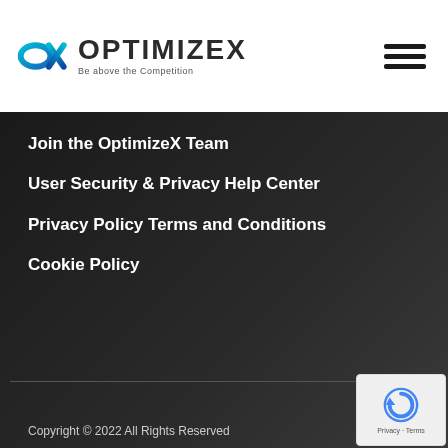[Figure (logo): OptimizeX logo with abstract infinity/loop icon in blue and dark teal, next to text OPTIMIZEX in bold dark gray with tagline 'Be above the Competition']
Join the OptimizeX Team
User Security & Privacy Help Center
Privacy Policy Terms and Conditions
Cookie Policy
Copyright © 2022 All Rights Reserved